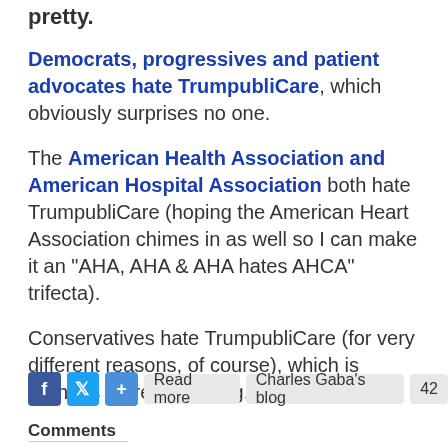pretty.
Democrats, progressives and patient advocates hate TrumpubliCare, which obviously surprises no one.
The American Health Association and American Hospital Association both hate TrumpubliCare (hoping the American Heart Association chimes in as well so I can make it an "AHA, AHA & AHA hates AHCA" trifecta).
Conservatives hate TrumpubliCare (for very different reasons, of course), which is perhaps more surprising.
Read more   Charles Gaba's blog   42